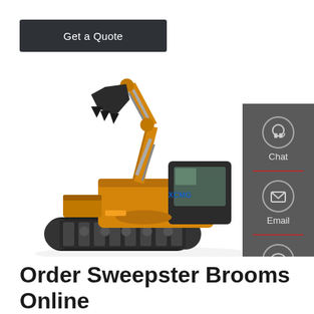Get a Quote
[Figure (photo): Yellow XCMG excavator/crawler with raised arm and bucket on white background]
[Figure (infographic): Sidebar with Chat (headset icon), Email (envelope icon), and Contact (speech bubble icon) options on dark grey background with red dividers]
Order Sweepster Brooms Online